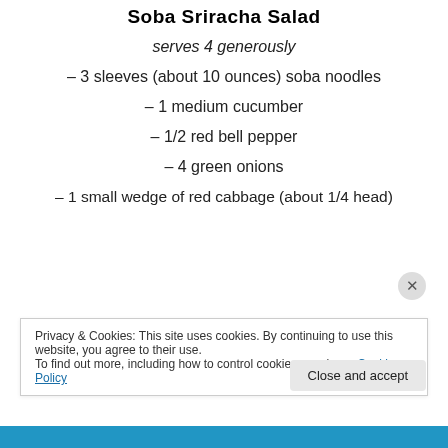Soba Sriracha Salad
serves 4 generously
– 3 sleeves (about 10 ounces) soba noodles
– 1 medium cucumber
– 1/2 red bell pepper
– 4 green onions
– 1 small wedge of red cabbage (about 1/4 head)
Privacy & Cookies: This site uses cookies. By continuing to use this website, you agree to their use. To find out more, including how to control cookies, see here: Cookie Policy
Close and accept